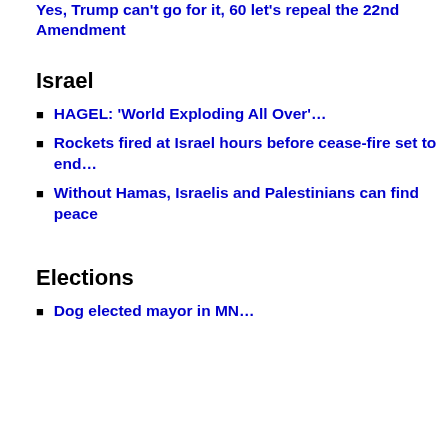Yes, Trump can't go for it, 60 let's repeal the 22nd Amendment
Israel
HAGEL: 'World Exploding All Over'…
Rockets fired at Israel hours before cease-fire set to end…
Without Hamas, Israelis and Palestinians can find peace
Elections
Dog elected mayor in MN…